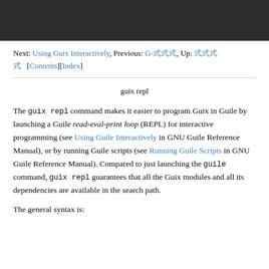[Figure (screenshot): Dark gray/black header bar at the top of the page]
Next: Using Guix Interactively, Previous: G-式, Up: 式式式   [Contents][Index]
guix repl
The guix repl command makes it easier to program Guix in Guile by launching a Guile read-eval-print loop (REPL) for interactive programming (see Using Guile Interactively in GNU Guile Reference Manual), or by running Guile scripts (see Running Guile Scripts in GNU Guile Reference Manual). Compared to just launching the guile command, guix repl guarantees that all the Guix modules and all its dependencies are available in the search path.
The general syntax is: